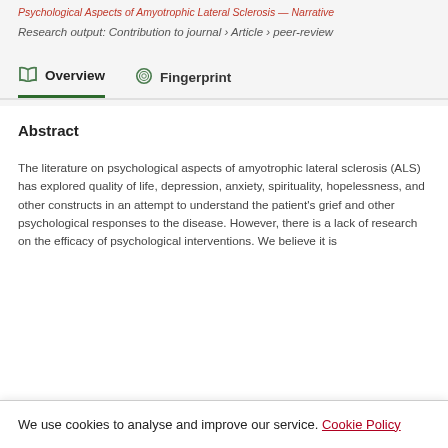Psychological Aspects of Amyotrophic Lateral Sclerosis
Research output: Contribution to journal › Article › peer-review
Overview   Fingerprint
Abstract
The literature on psychological aspects of amyotrophic lateral sclerosis (ALS) has explored quality of life, depression, anxiety, spirituality, hopelessness, and other constructs in an attempt to understand the patient's grief and other psychological responses to the disease. However, there is a lack of research on the efficacy of psychological interventions. We believe it is
We use cookies to analyse and improve our service. Cookie Policy